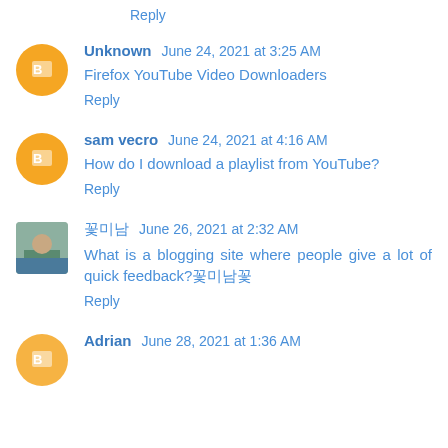Reply
Unknown   June 24, 2021 at 3:25 AM
Firefox YouTube Video Downloaders
Reply
sam vecro   June 24, 2021 at 4:16 AM
How do I download a playlist from YouTube?
Reply
꽃미남   June 26, 2021 at 2:32 AM
What is a blogging site where people give a lot of quick feedback?꽃미남꽃미남
Reply
Adrian   June 28, 2021 at 1:36 AM